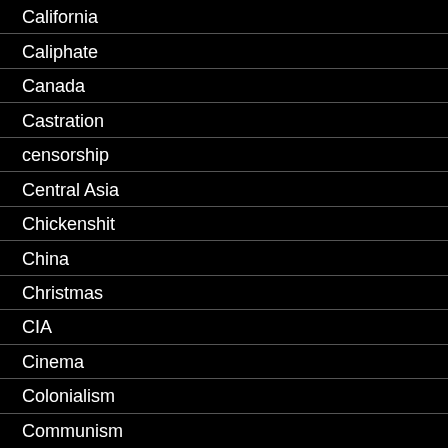California
Caliphate
Canada
Castration
censorship
Central Asia
Chickenshit
China
Christmas
CIA
Cinema
Colonialism
Communism